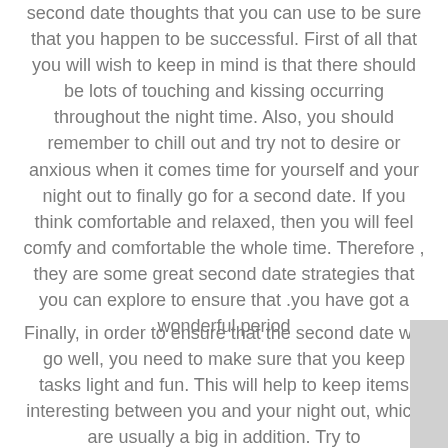second date thoughts that you can use to be sure that you happen to be successful. First of all that you will wish to keep in mind is that there should be lots of touching and kissing occurring throughout the night time. Also, you should remember to chill out and try not to desire or anxious when it comes time for yourself and your night out to finally go for a second date. If you think comfortable and relaxed, then you will feel comfy and comfortable the whole time. Therefore , they are some great second date strategies that you can explore to ensure that you have got a wonderful period.
Finally, in order to ensure that the second date will go well, you need to make sure that you keep tasks light and fun. This will help to keep items interesting between you and your night out, which are usually a big in addition. Try to